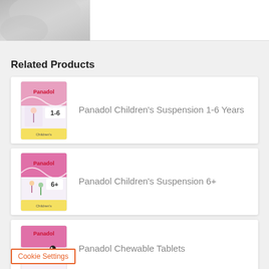[Figure (photo): Partial top image showing a light-colored fabric or clothing item, cropped at top of page]
Related Products
[Figure (photo): Panadol Children's Suspension 1-6 Years product box — pink and white box with child figure]
Panadol Children's Suspension 1-6 Years
[Figure (photo): Panadol Children's Suspension 6+ product box — pink and white box with child figure]
Panadol Children's Suspension 6+
[Figure (photo): Panadol Chewable Tablets product box — pink and white box with penguin figure]
Panadol Chewable Tablets
Cookie Settings